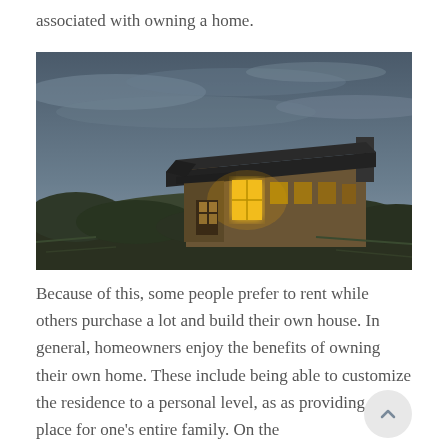associated with owning a home.
[Figure (photo): A house with a thatched roof lit from inside, surrounded by grassy dunes under a dramatic overcast sky at dusk.]
Because of this, some people prefer to rent while others purchase a lot and build their own house. In general, homeowners enjoy the benefits of owning their own home. These include being able to customize the residence to a personal level, as as providing a place for one's entire family. On the